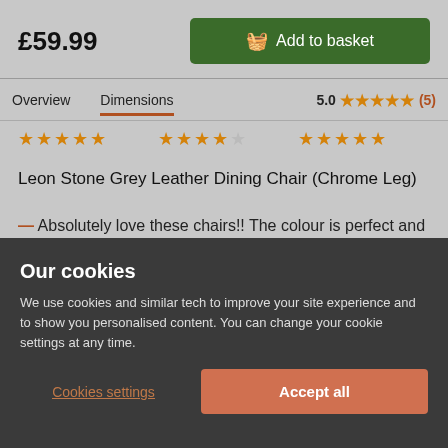£59.99
Add to basket
Overview   Dimensions   5.0 ★★★★★ (5)
[Figure (other): Three groups of star ratings shown in a row: 5 stars, 4.5 stars, 5 stars]
Leon Stone Grey Leather Dining Chair (Chrome Leg)
— Absolutely love these chairs!! The colour is perfect and it was a little different to expected. Overall...
Our cookies
We use cookies and similar tech to improve your site experience and to show you personalised content. You can change your cookie settings at any time.
Cookies settings
Accept all